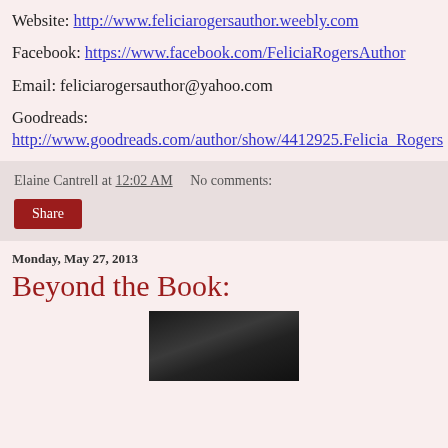Website: http://www.feliciarogersauthor.weebly.com
Facebook: https://www.facebook.com/FeliciaRogersAuthor
Email: feliciarogersauthor@yahoo.com
Goodreads:
http://www.goodreads.com/author/show/4412925.Felicia_Rogers
Elaine Cantrell at 12:02 AM    No comments:
Share
Monday, May 27, 2013
Beyond the Book:
[Figure (photo): Black and white photo of a person, partially visible from the neck down]